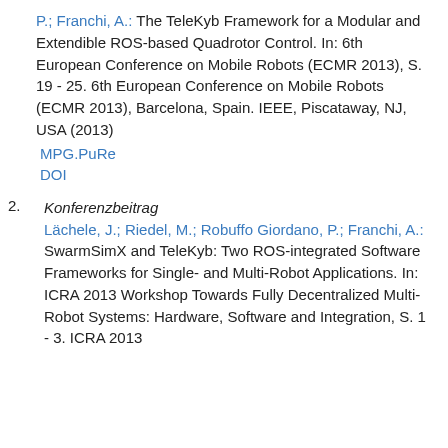P.; Franchi, A.: The TeleKyb Framework for a Modular and Extendible ROS-based Quadrotor Control. In: 6th European Conference on Mobile Robots (ECMR 2013), S. 19 - 25. 6th European Conference on Mobile Robots (ECMR 2013), Barcelona, Spain. IEEE, Piscataway, NJ, USA (2013)
MPG.PuRe
DOI
2. Konferenzbeitrag Lächele, J.; Riedel, M.; Robuffo Giordano, P.; Franchi, A.: SwarmSimX and TeleKyb: Two ROS-integrated Software Frameworks for Single- and Multi-Robot Applications. In: ICRA 2013 Workshop Towards Fully Decentralized Multi-Robot Systems: Hardware, Software and Integration, S. 1 - 3. ICRA 2013